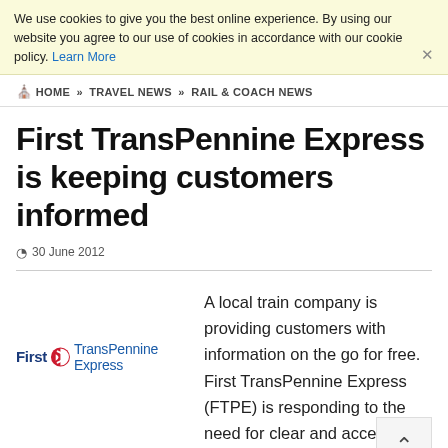We use cookies to give you the best online experience. By using our website you agree to our use of cookies in accordance with our cookie policy. Learn More
HOME » TRAVEL NEWS » RAIL & COACH NEWS
First TransPennine Express is keeping customers informed
30 June 2012
[Figure (logo): First TransPennine Express logo with circular red and white emblem between 'First' in bold navy and 'TransPennine Express' in blue]
A local train company is providing customers with information on the go for free. First TransPennine Express (FTPE) is responding to the need for clear and accessible journey